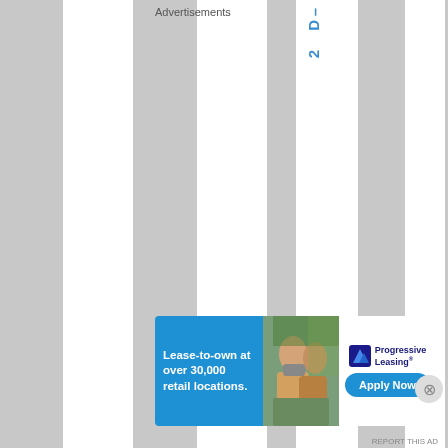[Figure (screenshot): Webpage screenshot with vertical column layout showing white and light gray strips. A vertical text reading '-D2 Moscow had conta' is visible in blue and dark gray. An advertisement bar at the bottom shows 'Advertisements' label and a Progressive Leasing ad with 'Lease-to-own at over 30,000 retail locations.' and 'Apply Now' button.]
–D2
Moscow had conta
Advertisements
[Figure (photo): Advertisement banner for Progressive Leasing with blue background on left showing 'Lease-to-own at over 30,000 retail locations.', a photo of couple in middle, and Progressive Leasing logo with 'Apply Now' button on right.]